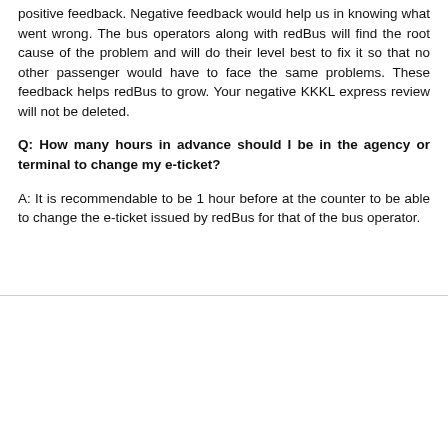positive feedback. Negative feedback would help us in knowing what went wrong. The bus operators along with redBus will find the root cause of the problem and will do their level best to fix it so that no other passenger would have to face the same problems. These feedback helps redBus to grow. Your negative KKKL express review will not be deleted.
Q: How many hours in advance should I be in the agency or terminal to change my e-ticket?
A: It is recommendable to be 1 hour before at the counter to be able to change the e-ticket issued by redBus for that of the bus operator.